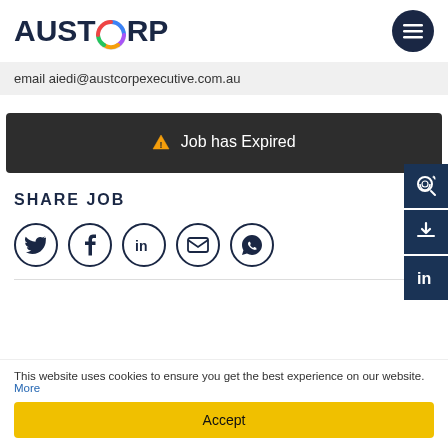[Figure (logo): AUSTCORP logo with colorful O and hamburger menu button]
email aiedi@austcorpexecutive.com.au
⚠ Job has Expired
SHARE JOB
[Figure (illustration): Social share icons: Twitter, Facebook, LinkedIn, Email, WhatsApp]
This website uses cookies to ensure you get the best experience on our website. More
Accept